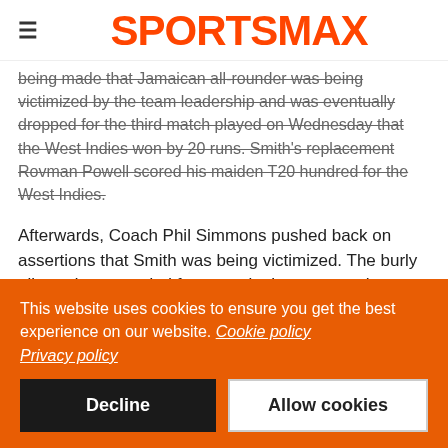SPORTSMAX
being made that Jamaican all-rounder was being victimized by the team leadership and was eventually dropped for the third match played on Wednesday that the West Indies won by 20 runs. Smith's replacement Rovman Powell scored his maiden T20 hundred for the West Indies.
Afterwards, Coach Phil Simmons pushed back on assertions that Smith was being victimized. The burly allrounder conceded four runs in the one over he bowled in the second T20 and dropped for the next match. He has also scored useful runs
This website uses cookies to ensure you get the best experience on our website. Cookie policy
Privacy policy
Decline
Allow cookies